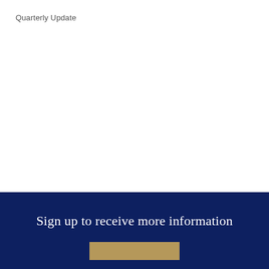Quarterly Update
Sign up to receive more information